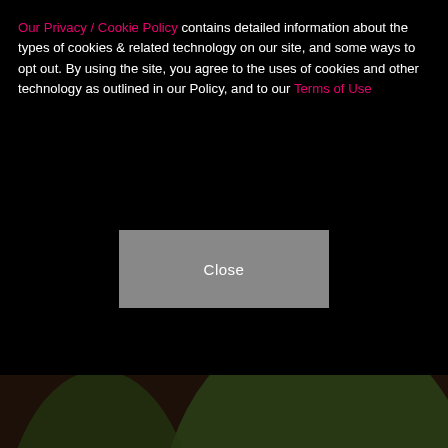Our Privacy / Cookie Policy contains detailed information about the types of cookies & related technology on our site, and some ways to opt out. By using the site, you agree to the uses of cookies and other technology as outlined in our Policy, and to our Terms of Use
[Figure (other): A gray 'Close' button over a black background overlay]
[Figure (photo): A man in a dark suit with a burgundy tie and a woman in a white dress, both smiling, standing together outdoors at what appears to be an evening event with greenery in the background.]